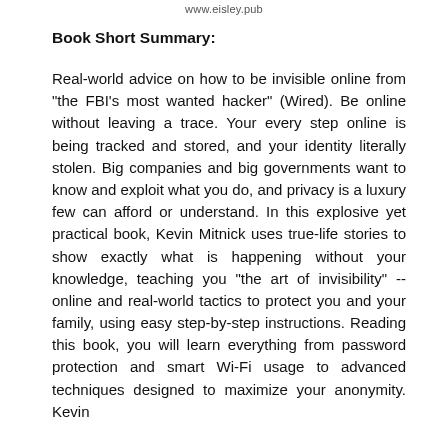www.eisley.pub
Book Short Summary:
Real-world advice on how to be invisible online from "the FBI's most wanted hacker" (Wired). Be online without leaving a trace. Your every step online is being tracked and stored, and your identity literally stolen. Big companies and big governments want to know and exploit what you do, and privacy is a luxury few can afford or understand. In this explosive yet practical book, Kevin Mitnick uses true-life stories to show exactly what is happening without your knowledge, teaching you "the art of invisibility" -- online and real-world tactics to protect you and your family, using easy step-by-step instructions. Reading this book, you will learn everything from password protection and smart Wi-Fi usage to advanced techniques designed to maximize your anonymity. Kevin